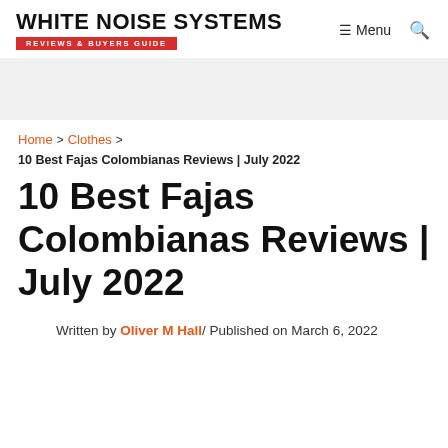WHITE NOISE SYSTEMS — REVIEWS & BUYERS GUIDE | Menu | Search
[Figure (other): Gray advertisement banner area]
Home > Clothes >
10 Best Fajas Colombianas Reviews | July 2022
10 Best Fajas Colombianas Reviews | July 2022
Written by Oliver M Hall/ Published on March 6, 2022